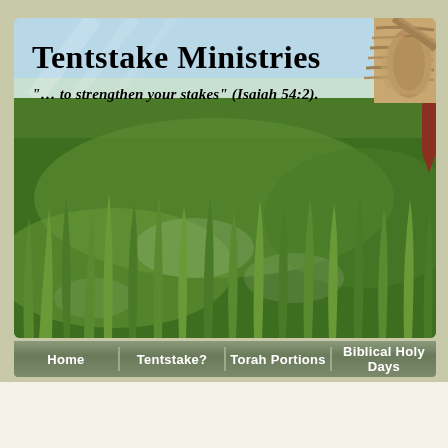[Figure (photo): Tentstake Ministries website banner showing green grass field close-up with rope/tent stake in upper right corner, light blue sky at top. Contains site title and tagline text overlaid on the image.]
Tentstake Ministries
“… to strengthen your stakes” (Isaiah 54:2).
Home | Tentstake? | Torah Portions | Biblical Holy Days
Posts Tagged ‘blood’